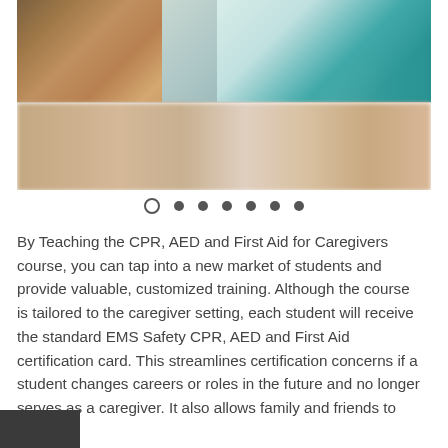[Figure (photo): Two-part image: top shows a person in military camouflage uniform writing at a desk with another person in teal shirt visible; bottom shows a blurred background scene with warm tones.]
By Teaching the CPR, AED and First Aid for Caregivers course, you can tap into a new market of students and provide valuable, customized training. Although the course is tailored to the caregiver setting, each student will receive the standard EMS Safety CPR, AED and First Aid certification card. This streamlines certification concerns if a student changes careers or roles in the future and no longer serves as a caregiver. It also allows family and friends to receive